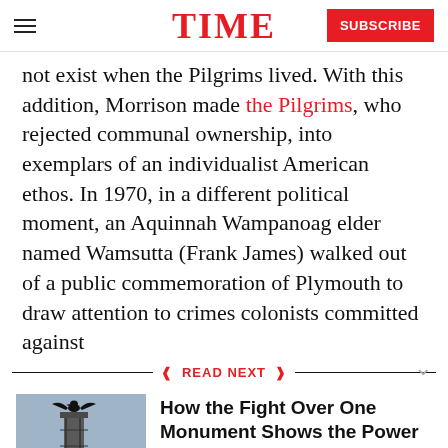TIME | SUBSCRIBE
not exist when the Pilgrims lived. With this addition, Morrison made the Pilgrims, who rejected communal ownership, into exemplars of an individualist American ethos. In 1970, in a different political moment, an Aquinnah Wampanoag elder named Wamsutta (Frank James) walked out of a public commemoration of Plymouth to draw attention to crimes colonists committed against
READ NEXT
[Figure (photo): A crow or raven sculpture on top of a monument or column]
How the Fight Over One Monument Shows the Power of the Past